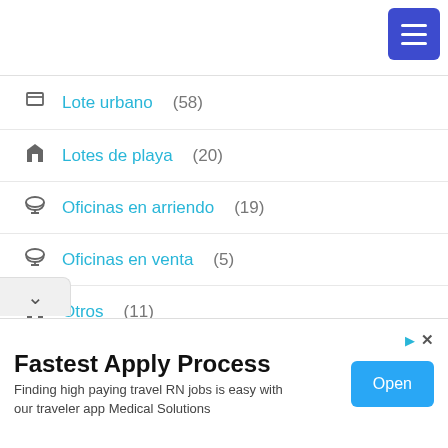Lote urbano (58)
Lotes de playa (20)
Oficinas en arriendo (19)
Oficinas en venta (5)
Otros (11)
Penthouse (3)
Terrenos industriales (1)
Fastest Apply Process
Finding high paying travel RN jobs is easy with our traveler app Medical Solutions